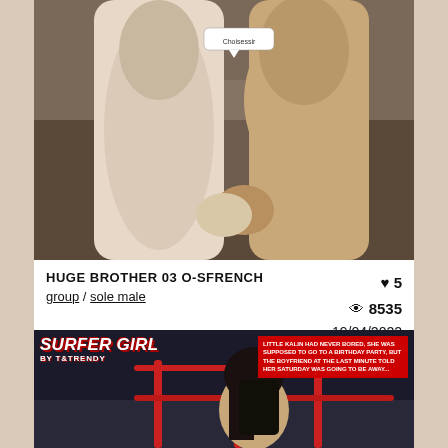[Figure (illustration): 3D rendered illustration showing two figures in a room, one with a speech bubble saying 'Choisessir']
HUGE BROTHER 03 O-SFRENCH
group / sole male
♥ 5  👁 8535  19/04/2022
[Figure (illustration): Comic book style illustration titled 'SURFER GIRL BY T&TRENDY' showing a girl with dark hair near a red railing, with a text box in the upper right]